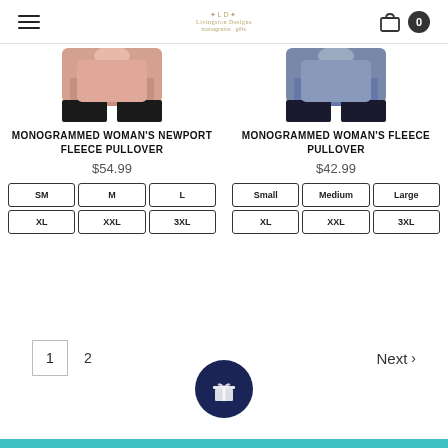LD Livingston Designs — navigation header with hamburger menu, cart icon, counter 0
[Figure (photo): Pink woman's pullover fleece (cropped, showing torso)]
MONOGRAMMED WOMAN'S NEWPORT FLEECE PULLOVER
$54.99
SM  M  L  XL  XXL  3XL
[Figure (photo): Blue/grey woman's pullover fleece (cropped, showing torso)]
MONOGRAMMED WOMAN'S FLEECE PULLOVER
$42.99
Small  Medium  Large  XL  XXL  3XL
1  2  Next >
[Figure (other): Dark navy circular gift/reward button with gift box icon]
Teal footer bar